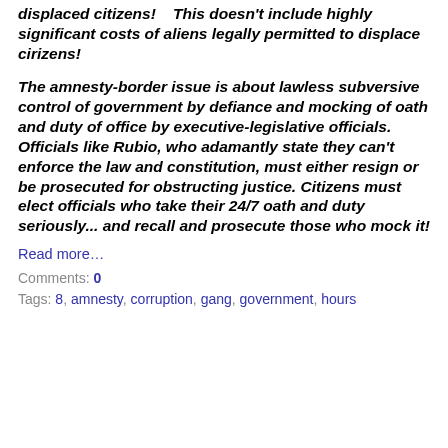displaced citizens!    This doesn't include highly significant costs of aliens legally permitted to displace cirizens!
The amnesty-border issue is about lawless subversive control of government by defiance and mocking of oath and duty of office by executive-legislative officials. Officials like Rubio, who adamantly state they can't enforce the law and constitution, must either resign or be prosecuted for obstructing justice. Citizens must elect officials who take their 24/7 oath and duty seriously... and recall and prosecute those who mock it!
Read more…
Comments: 0
Tags: 8, amnesty, corruption, gang, government, hours